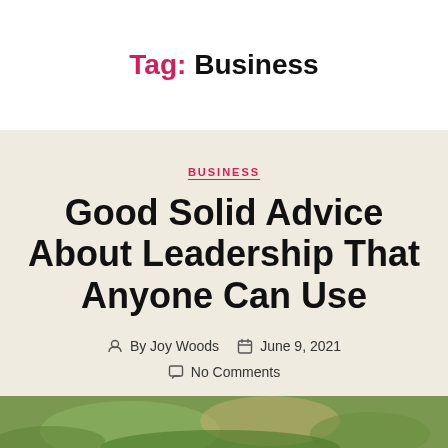Tag: Business
BUSINESS
Good Solid Advice About Leadership That Anyone Can Use
By Joy Woods   June 9, 2021
No Comments
[Figure (photo): Bottom strip showing outdoor greenery/nature photo]